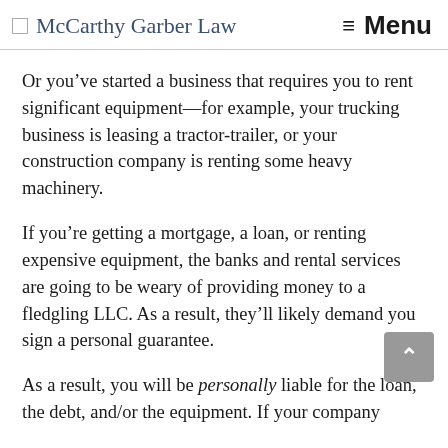McCarthy Garber Law   ☰ Menu
Or you've started a business that requires you to rent significant equipment—for example, your trucking business is leasing a tractor-trailer, or your construction company is renting some heavy machinery.
If you're getting a mortgage, a loan, or renting expensive equipment, the banks and rental services are going to be weary of providing money to a fledgling LLC. As a result, they'll likely demand you sign a personal guarantee.
As a result, you will be personally liable for the loan, the debt, and/or the equipment. If your company